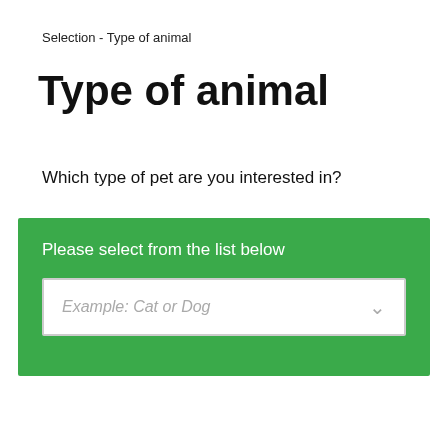Selection - Type of animal
Type of animal
Which type of pet are you interested in?
[Figure (screenshot): Green selection panel with label 'Please select from the list below' and a dropdown input showing placeholder text 'Example: Cat or Dog' with a chevron arrow on the right.]